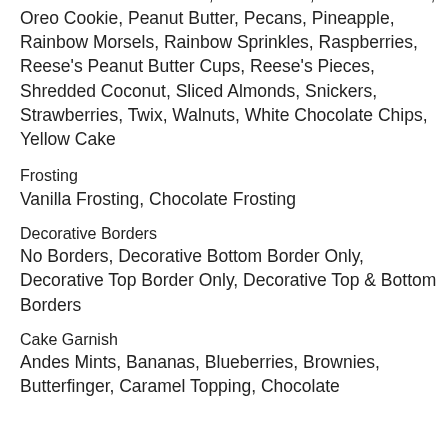Miniature Marshmallows, Mint Patties, Nestle Crunch, Oreo Cookie, Peanut Butter, Pecans, Pineapple, Rainbow Morsels, Rainbow Sprinkles, Raspberries, Reese's Peanut Butter Cups, Reese's Pieces, Shredded Coconut, Sliced Almonds, Snickers, Strawberries, Twix, Walnuts, White Chocolate Chips, Yellow Cake
Frosting
Vanilla Frosting, Chocolate Frosting
Decorative Borders
No Borders, Decorative Bottom Border Only, Decorative Top Border Only, Decorative Top & Bottom Borders
Cake Garnish
Andes Mints, Bananas, Blueberries, Brownies, Butterfinger, Caramel Topping, Chocolate